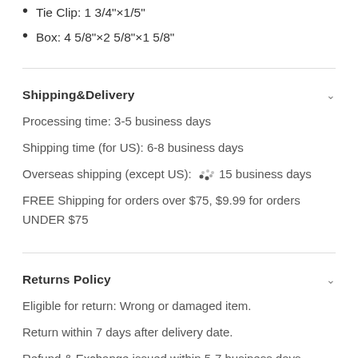Tie Clip: 1 3/4"×1/5"
Box: 4 5/8"×2 5/8"×1 5/8"
Shipping&Delivery
Processing time: 3-5 business days
Shipping time (for US): 6-8 business days
Overseas shipping (except US): 10-15 business days
FREE Shipping for orders over $75, $9.99 for orders UNDER $75
Returns Policy
Eligible for return: Wrong or damaged item.
Return within 7 days after delivery date.
Refund & Exchange issued within 5-7 business days.